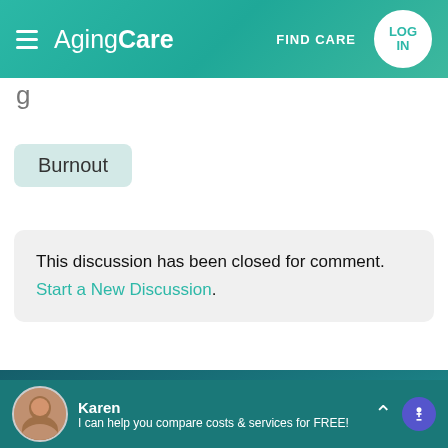AgingCare | FIND CARE | LOG IN
g
Burnout
This discussion has been closed for comment. Start a New Discussion.
Find Care & Housing
Karen
I can help you compare costs & services for FREE!